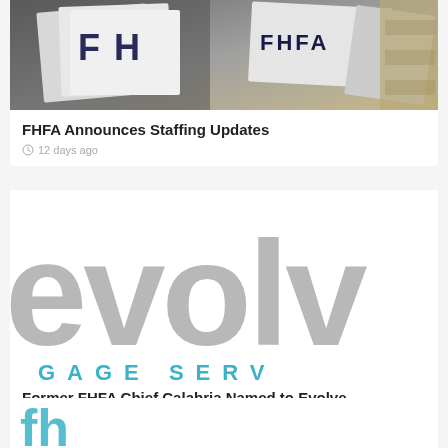[Figure (photo): Photo of FHFA letter signs stacked or arranged, with the letters F, H, F, A visible on metal/board signage]
FHFA Announces Staffing Updates
12 days ago
[Figure (logo): Evolve Mortgage Services logo — large grey 'evolv' text with teal spaced uppercase 'GAGE SERV' below]
Former FHFA Chief Calabria Named to Evolve Mortgage's Advisory Board
July 11, 2022